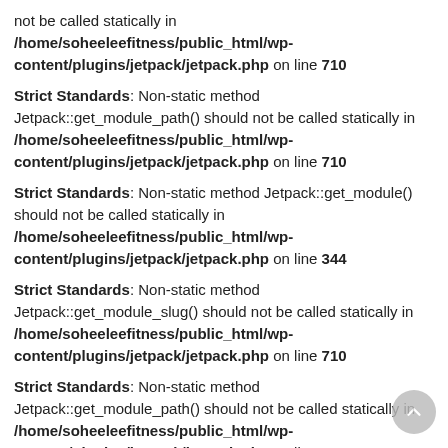not be called statically in /home/soheeleefitness/public_html/wp-content/plugins/jetpack/jetpack.php on line 710
Strict Standards: Non-static method Jetpack::get_module_path() should not be called statically in /home/soheeleefitness/public_html/wp-content/plugins/jetpack/jetpack.php on line 710
Strict Standards: Non-static method Jetpack::get_module() should not be called statically in /home/soheeleefitness/public_html/wp-content/plugins/jetpack/jetpack.php on line 344
Strict Standards: Non-static method Jetpack::get_module_slug() should not be called statically in /home/soheeleefitness/public_html/wp-content/plugins/jetpack/jetpack.php on line 710
Strict Standards: Non-static method Jetpack::get_module_path() should not be called statically in /home/soheeleefitness/public_html/wp-content/plugins/jetpack/jetpack.php on line 710
Strict Standards: Non-static method Jetpack::get_module() should not be called statically in /home/soheeleefitness/public_html/wp-content/plugins/jetpack/jetpack.php on line 344